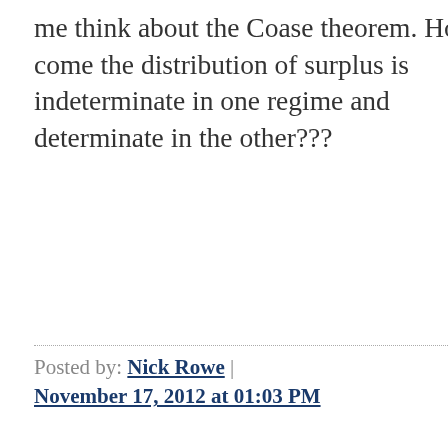me think about the Coase theorem. How come the distribution of surplus is indeterminate in one regime and determinate in the other???
Posted by: Nick Rowe | November 17, 2012 at 01:03 PM
Thanks for this, Frances. By coincidence, I happen to be lecturing this Thursday on "The problem with 'The Problem of Social Cost'" and it's handy to have a concrete example of how the "Coase Theorem" is taught.